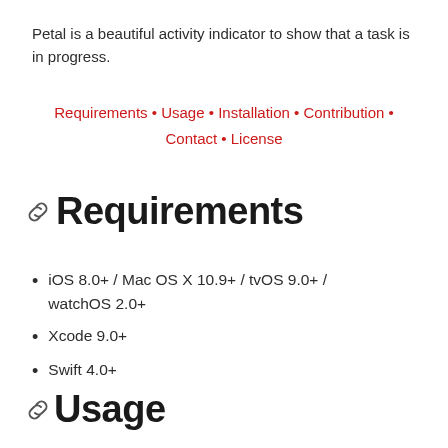Petal is a beautiful activity indicator to show that a task is in progress.
Requirements • Usage • Installation • Contribution • Contact • License
Requirements
iOS 8.0+ / Mac OS X 10.9+ / tvOS 9.0+ / watchOS 2.0+
Xcode 9.0+
Swift 4.0+
Usage